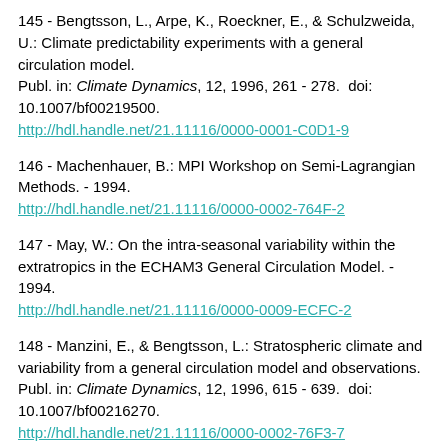145 - Bengtsson, L., Arpe, K., Roeckner, E., & Schulzweida, U.: Climate predictability experiments with a general circulation model.
Publ. in: Climate Dynamics, 12, 1996, 261 - 278.  doi: 10.1007/bf00219500.
http://hdl.handle.net/21.11116/0000-0001-C0D1-9
146 - Machenhauer, B.: MPI Workshop on Semi-Lagrangian Methods. - 1994.
http://hdl.handle.net/21.11116/0000-0002-764F-2
147 - May, W.: On the intra-seasonal variability within the extratropics in the ECHAM3 General Circulation Model. - 1994.
http://hdl.handle.net/21.11116/0000-0009-ECFC-2
148 - Manzini, E., & Bengtsson, L.: Stratospheric climate and variability from a general circulation model and observations.
Publ. in: Climate Dynamics, 12, 1996, 615 - 639.  doi: 10.1007/bf00216270.
http://hdl.handle.net/21.11116/0000-0002-76F3-7